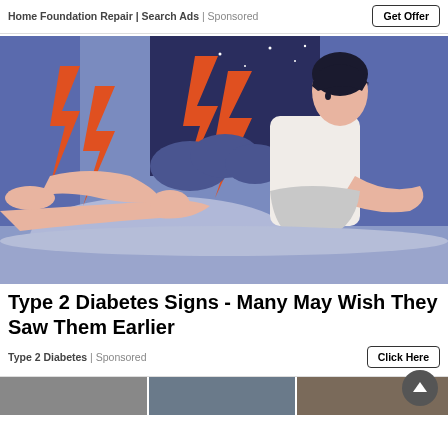Home Foundation Repair | Search Ads | Sponsored
Get Offer
[Figure (illustration): Illustration of a man sitting on a bed at night, holding his leg in pain, with lightning bolt symbols indicating pain]
Type 2 Diabetes Signs - Many May Wish They Saw Them Earlier
Type 2 Diabetes | Sponsored
Click Here
[Figure (photo): Bottom strip showing partial images of three photos]